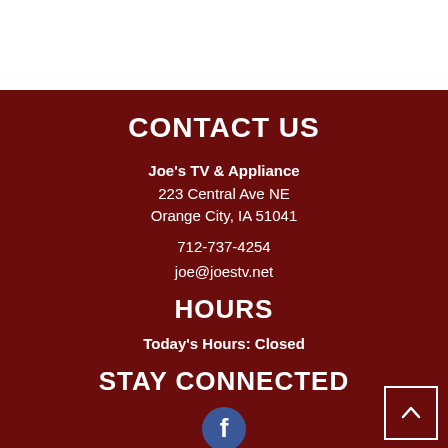CONTACT US
Joe's TV & Appliance
223 Central Ave NE
Orange City, IA 51041
712-737-4254
joe@joestv.net
HOURS
Today's Hours: Closed
STAY CONNECTED
[Figure (logo): Facebook logo icon circle]